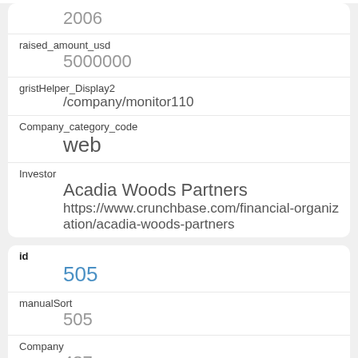2006
raised_amount_usd
5000000
gristHelper_Display2
/company/monitor110
Company_category_code
web
Investor
Acadia Woods Partners
https://www.crunchbase.com/financial-organization/acadia-woods-partners
id
505
manualSort
505
Company
487
investor_permalink
/financial-organization/acadia-woods-partners